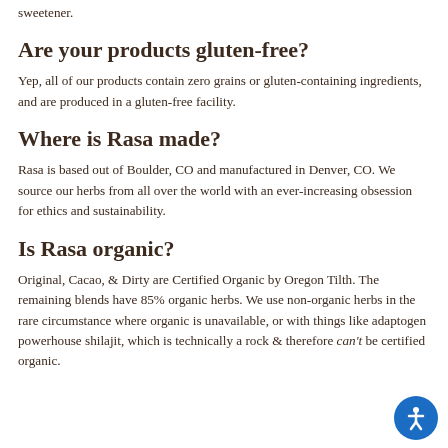Nope, no sugar or sweeteners. Zero grams of sugar in every product. We figure if you want it sweet, you can do your thing & add your favorite sweetener.
Are your products gluten-free?
Yep, all of our products contain zero grains or gluten-containing ingredients, and are produced in a gluten-free facility.
Where is Rasa made?
Rasa is based out of Boulder, CO and manufactured in Denver, CO. We source our herbs from all over the world with an ever-increasing obsession for ethics and sustainability.
Is Rasa organic?
Original, Cacao, & Dirty are Certified Organic by Oregon Tilth. The remaining blends have 85% organic herbs. We use non-organic herbs in the rare circumstance where organic is unavailable, or with things like adaptogen powerhouse shilajit, which is technically a rock & therefore can't be certified organic.